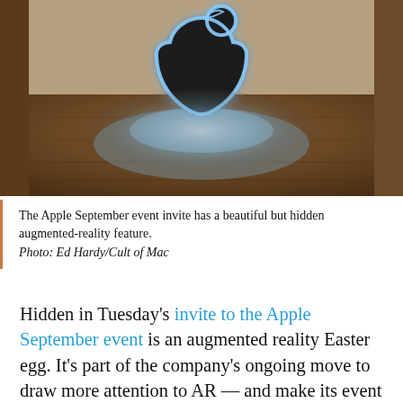[Figure (photo): Photo of an illuminated Apple logo with a glowing blue-white halo effect, displayed against a wooden floor background with walls visible. The logo appears as an AR projection or hologram.]
The Apple September event invite has a beautiful but hidden augmented-reality feature. Photo: Ed Hardy/Cult of Mac
Hidden in Tuesday's invite to the Apple September event is an augmented reality Easter egg. It's part of the company's ongoing move to draw more attention to AR — and make its event invites cooler